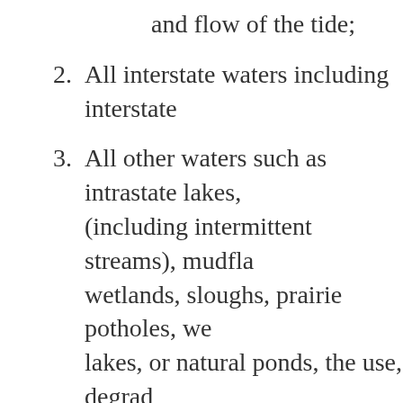and flow of the tide;
2. All interstate waters including interstate
3. All other waters such as intrastate lakes, (including intermittent streams), mudflats, wetlands, sloughs, prairie potholes, we lakes, or natural ponds, the use, degradation of which could affect interstate or foreign commerce including any such waters:
i. Which are or could be used by interstate travelers for recreational or other purposes;
ii. From which fish or shellfish are or could be sold in interstate or foreign commerce;
iii. Which are used or could be used for